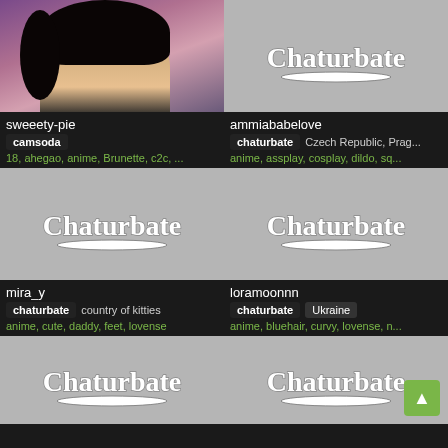[Figure (photo): Thumbnail of streamer sweeety-pie on camsoda]
sweeety-pie
camsoda
18, ahegao, anime, Brunette, c2c, ...
[Figure (photo): Chaturbate placeholder thumbnail for ammiababelove]
ammiababelove
chaturbate  Czech Republic, Prag...
anime, assplay, cosplay, dildo, sq...
[Figure (photo): Chaturbate placeholder thumbnail for mira_y]
mira_y
chaturbate  country of kitties
anime, cute, daddy, feet, lovense
[Figure (photo): Chaturbate placeholder thumbnail for loramoonnn]
loramoonnn
chaturbate  Ukraine
anime, bluehair, curvy, lovense, n...
[Figure (photo): Chaturbate placeholder thumbnail (bottom left)]
[Figure (photo): Chaturbate placeholder thumbnail (bottom right)]